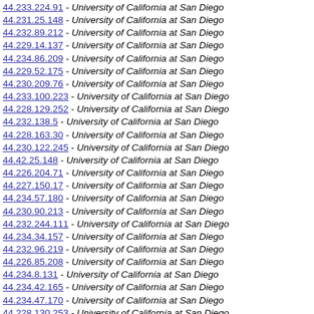44.233.224.91 - University of California at San Diego
44.231.25.148 - University of California at San Diego
44.232.89.212 - University of California at San Diego
44.229.14.137 - University of California at San Diego
44.234.86.209 - University of California at San Diego
44.229.52.175 - University of California at San Diego
44.230.209.76 - University of California at San Diego
44.233.100.223 - University of California at San Diego
44.228.129.252 - University of California at San Diego
44.232.138.5 - University of California at San Diego
44.228.163.30 - University of California at San Diego
44.230.122.245 - University of California at San Diego
44.42.25.148 - University of California at San Diego
44.226.204.71 - University of California at San Diego
44.227.150.17 - University of California at San Diego
44.234.57.180 - University of California at San Diego
44.230.90.213 - University of California at San Diego
44.232.244.111 - University of California at San Diego
44.234.34.157 - University of California at San Diego
44.232.96.219 - University of California at San Diego
44.226.85.208 - University of California at San Diego
44.234.8.131 - University of California at San Diego
44.234.42.165 - University of California at San Diego
44.234.47.170 - University of California at San Diego
44.228.130.253 - University of California at San Diego
44.232.212.79 - University of California at San Diego
44.229.11.134 - University of California at San Diego
44.226.96.219 - University of California at San Diego
44.229.6.129 - University of California at San Diego
44.224.153.20 - University of California at San Diego